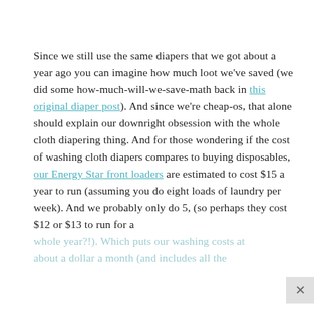Since we still use the same diapers that we got about a year ago you can imagine how much loot we've saved (we did some how-much-will-we-save-math back in this original diaper post). And since we're cheap-os, that alone should explain our downright obsession with the whole cloth diapering thing. And for those wondering if the cost of washing cloth diapers compares to buying disposables, our Energy Star front loaders are estimated to cost $15 a year to run (assuming you do eight loads of laundry per week). And we probably only do 5, (so perhaps they cost $12 or $13 to run for a whole year?!). Which puts our washing costs at about a dollar a month (and includes all the